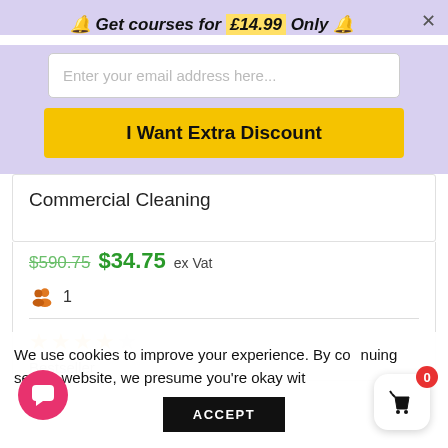🔔 Get courses for £14.99 Only 🔔
Enter your email address here...
I Want Extra Discount
Commercial Cleaning
$590.75  $34.75 ex Vat
1
★★★★☆
Bestseller
We use cookies to improve your experience. By continuing to use this website, we presume you're okay with
ACCEPT